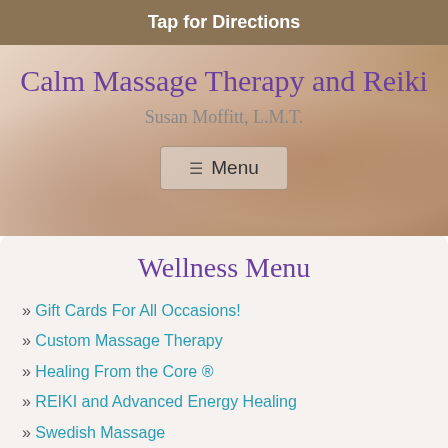Tap for Directions
Calm Massage Therapy and Reiki
Susan Moffitt, L.M.T.
[Figure (screenshot): Navigation menu button with hamburger icon and text Menu on a semi-transparent background over a massage/hands photo]
Wellness Menu
Gift Cards For All Occasions!
Custom Massage Therapy
Healing From the Core ®
REIKI and Advanced Energy Healing
Swedish Massage